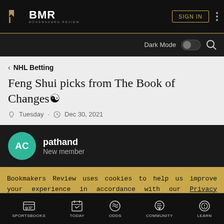BMR BOOKMAKERS REVIEW — SIGN IN
Dark Mode
< NHL Betting
Feng Shui picks from The Book of Changes ☯
Tuesday · Dec 30, 2021
AC pathand New member
Bookmakers Review uses cookies to help us improve your experience in accordance with our Privacy Policy.
ACCEPT & CLOSE
SPORTSBOOKS  TODAY  ODDS  COMMUNITY  LEARN